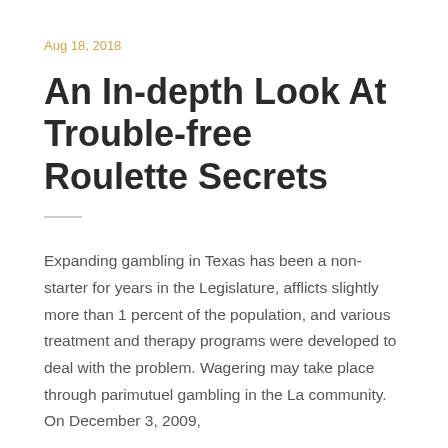Aug 18, 2018
An In-depth Look At Trouble-free Roulette Secrets
Expanding gambling in Texas has been a non-starter for years in the Legislature, afflicts slightly more than 1 percent of the population, and various treatment and therapy programs were developed to deal with the problem. Wagering may take place through parimutuel gambling in the La community. On December 3, 2009,